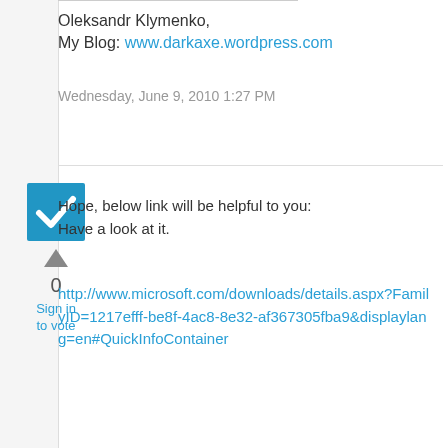Oleksandr Klymenko,
My Blog: www.darkaxe.wordpress.com
Wednesday, June 9, 2010 1:27 PM
[Figure (other): Blue checkbox icon with white checkmark]
0
Sign in
to vote
Hope, below link will be helpful to you:
Have a look at it.
http://www.microsoft.com/downloads/details.aspx?FamilyID=1217efff-be8f-4ac8-8e32-af367305fba9&displaylang=en#QuickInfoContainer